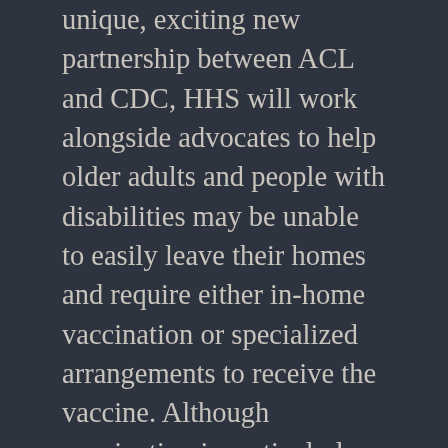unique, exciting new partnership between ACL and CDC, HHS will work alongside advocates to help older adults and people with disabilities may be unable to easily leave their homes and require either in-home vaccination or specialized arrangements to receive the vaccine. Although vaccination is particularly important for these populations, many people with disabilities may be unable to independently travel to vaccination sites In addition, these grants will enable the aging and disability networks to identify people who are unable to. By funding services and supports provided by networks of community-based organizations, and with investments in research, education, and innovation, ACL helps make motegrity tablet online this principle a reality for millions of Americans. By funding services and